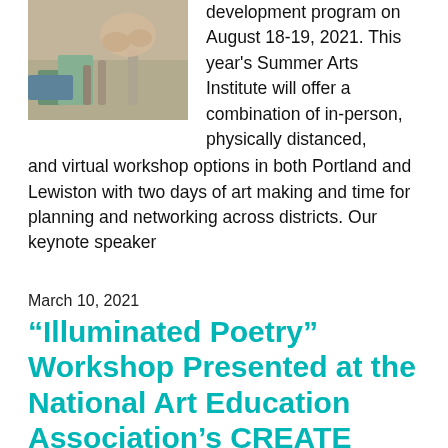[Figure (photo): Photo of hands working with art materials including paint rollers and colorful papers on a table]
development program on August 18-19, 2021. This year's Summer Arts Institute will offer a combination of in-person, physically distanced, and virtual workshop options in both Portland and Lewiston with two days of art making and time for planning and networking across districts. Our keynote speaker
March 10, 2021
“Illuminated Poetry” Workshop Presented at the National Art Education Association’s CREATE 2021 National Convention